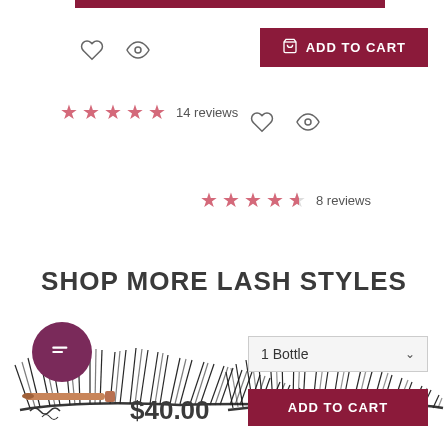[Figure (screenshot): Partial burgundy bar at top of product card]
[Figure (other): ADD TO CART button (top right, burgundy)]
[Figure (other): Heart and eye (wishlist/view) icons, left column]
[Figure (other): Five pink stars rating with 14 reviews text]
[Figure (other): Heart and eye icons, right column]
[Figure (other): 4.5 pink stars rating with 8 reviews text]
SHOP MORE LASH STYLES
[Figure (photo): Black false eyelash product image, left side]
[Figure (other): Chat bubble / messenger icon, dark purple circle]
[Figure (photo): Black false eyelash product image, right side]
[Figure (other): Lash applicator tool / pencil image]
$40.00
[Figure (other): Dropdown selector showing '1 Bottle']
[Figure (other): ADD TO CART button, bottom right, burgundy]